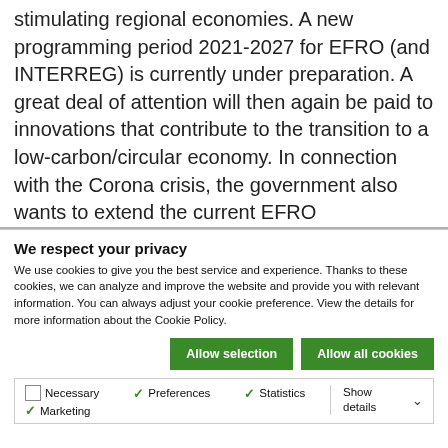stimulating regional economies. A new programming period 2021-2027 for EFRO (and INTERREG) is currently under preparation. A great deal of attention will then again be paid to innovations that contribute to the transition to a low-carbon/circular economy. In connection with the Corona crisis, the government also wants to extend the current EFRO
We respect your privacy
We use cookies to give you the best service and experience. Thanks to these cookies, we can analyze and improve the website and provide you with relevant information. You can always adjust your cookie preference. View the details for more information about the Cookie Policy.
Allow selection   Allow all cookies
Necessary   Preferences   Statistics   Marketing   Show details